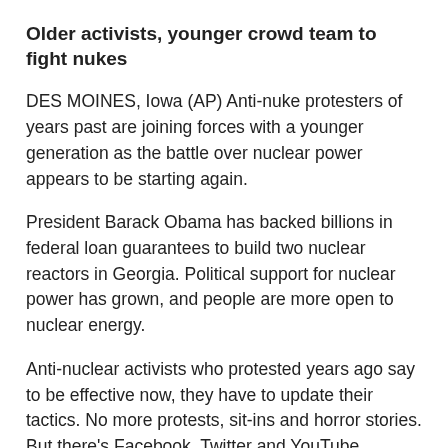Older activists, younger crowd team to fight nukes
DES MOINES, Iowa (AP) Anti-nuke protesters of years past are joining forces with a younger generation as the battle over nuclear power appears to be starting again.
President Barack Obama has backed billions in federal loan guarantees to build two nuclear reactors in Georgia. Political support for nuclear power has grown, and people are more open to nuclear energy.
Anti-nuclear activists who protested years ago say to be effective now, they have to update their tactics. No more protests, sit-ins and horror stories. But there's Facebook, Twitter and YouTube.
For one group in Georgia, it's the newer crop that really has brought those skills to the table. Emma Ogley-Oliver, a member of Nuclear Watch South, says the Internet is helping the movement grow.